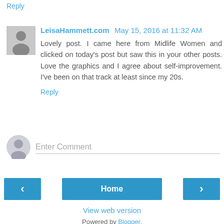Reply
LeisaHammett.com May 15, 2016 at 11:32 AM
Lovely post. I came here from Midlife Women and clicked on today's post but saw this in your other posts. Love the graphics and I agree about self-improvement. I've been on that track at least since my 20s.
Reply
Enter Comment
Home
View web version
Powered by Blogger.